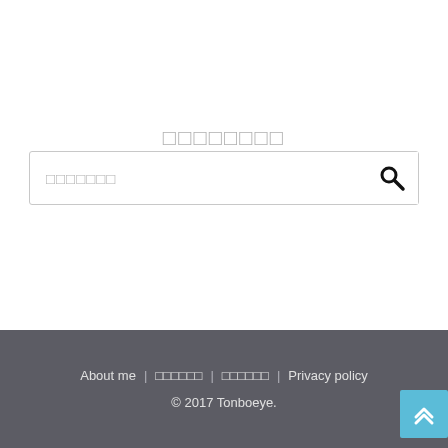□□□□□□□□
[Figure (other): Search bar with placeholder text (□□□□□□□) and a search icon (magnifying glass) on the right]
About me | □□□□□□ | □□□□□□ | Privacy policy
© 2017 Tonboeye.